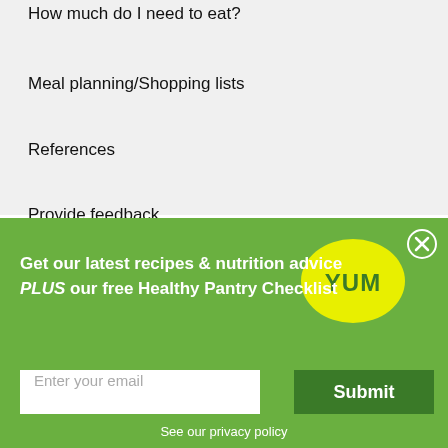How much do I need to eat?
Meal planning/Shopping lists
References
Provide feedback
Get our latest recipes & nutrition advice PLUS our free Healthy Pantry Checklist
Enter your email
Submit
See our privacy policy